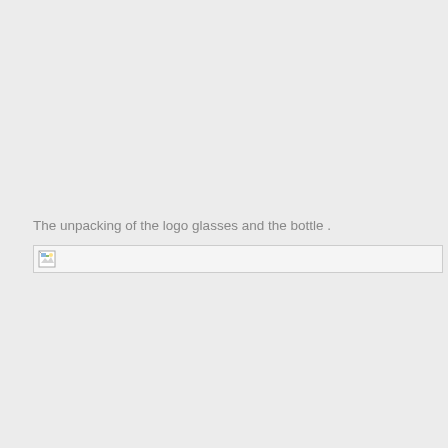The unpacking of the logo glasses and the bottle .
[Figure (photo): A broken/unloaded image placeholder showing an image that failed to load, representing an unpacking scene of logo glasses and a bottle.]